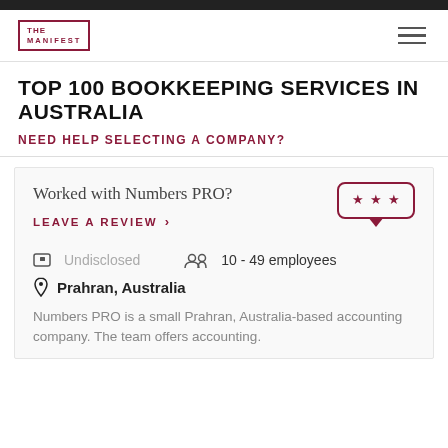THE MANIFEST
TOP 100 BOOKKEEPING SERVICES IN AUSTRALIA
NEED HELP SELECTING A COMPANY?
Worked with Numbers PRO?
LEAVE A REVIEW >
Undisclosed
10 - 49 employees
Prahran, Australia
Numbers PRO is a small Prahran, Australia-based accounting company. The team offers accounting.